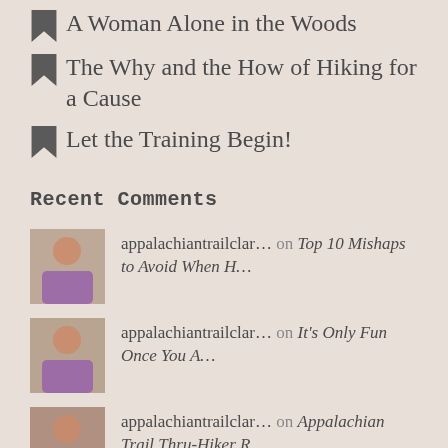A Woman Alone in the Woods
The Why and the How of Hiking for a Cause
Let the Training Begin!
Recent Comments
appalachiantrailclar… on Top 10 Mishaps to Avoid When H…
appalachiantrailclar… on It's Only Fun Once You A…
appalachiantrailclar… on Appalachian Trail Thru-Hiker R…
Vic Bennett on Appalachian Trail